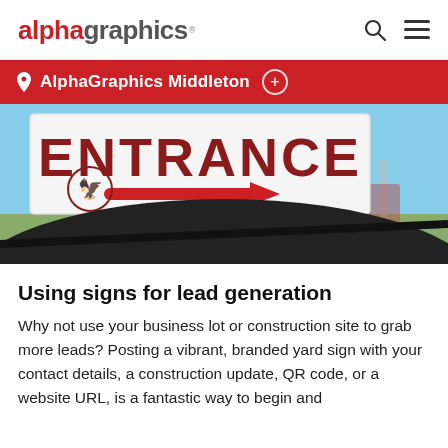alphagraphics
AlphaGraphics Middleton
[Figure (photo): Photo of an outdoor entrance sign with bold red letters spelling ENTRANCE and a red arrow pointing right, set against a blue sky with stadium lights in the background.]
Using signs for lead generation
Why not use your business lot or construction site to grab more leads? Posting a vibrant, branded yard sign with your contact details, a construction update, QR code, or a website URL, is a fantastic way to begin and